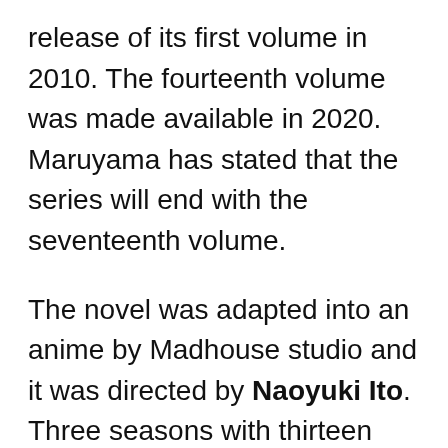release of its first volume in 2010. The fourteenth volume was made available in 2020. Maruyama has stated that the series will end with the seventeenth volume.
The novel was adapted into an anime by Madhouse studio and it was directed by Naoyuki Ito. Three seasons with thirteen episodes each have been released and a fourth season has been officially announced for 2022. So let's look at some of the best anime like Overlord until we got to enjoy more